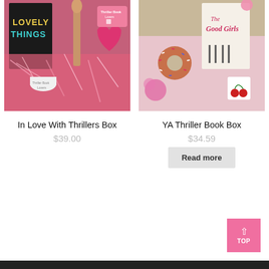[Figure (photo): Book subscription box product photo: 'Lovely Things' thriller book with pink shredded paper, a heart bookmark, makeup brush, and Thriller Book Lovers branded candle/tin and tag]
In Love With Thrillers Box
$39.00
[Figure (photo): Book subscription box product photo: 'The Good Girls' YA thriller book in a kraft box with pink tissue paper, a sprinkle donut, cherry earrings, and pink floral decorations]
YA Thriller Book Box
$34.59
Read more